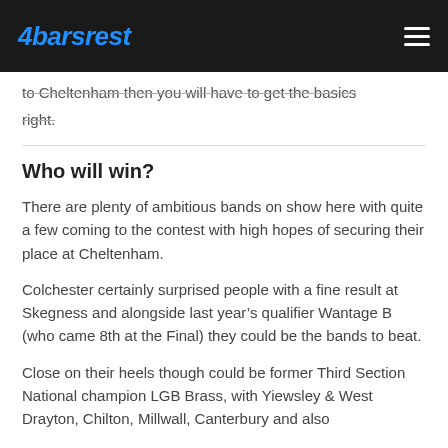4barsrest
to Cheltenham then you will have to get the basics right.
Who will win?
There are plenty of ambitious bands on show here with quite a few coming to the contest with high hopes of securing their place at Cheltenham.
Colchester certainly surprised people with a fine result at Skegness and alongside last year's qualifier Wantage B (who came 8th at the Final) they could be the bands to beat.
Close on their heels though could be former Third Section National champion LGB Brass, with Yiewsley & West Drayton, Chiltern, Millwall, Canterbury and also